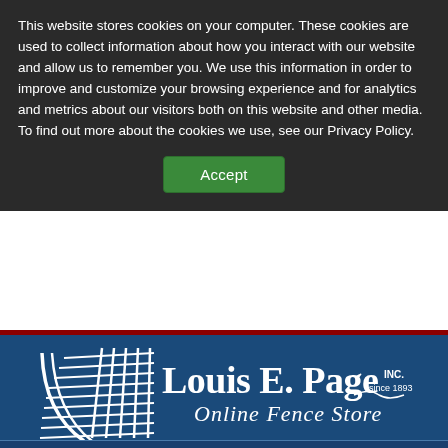This website stores cookies on your computer. These cookies are used to collect information about how you interact with our website and allow us to remember you. We use this information in order to improve and customize your browsing experience and for analytics and metrics about our visitors both on this website and other media. To find out more about the cookies we use, see our Privacy Policy.
Accept
[Figure (logo): Louis E. Page Inc. Online Fence Store logo — white fencing graphic on blue background with text 'Louis E. Page INC. since 1893 Online Fence Store']
Menu
Cart
Home › STAPLES 1-3/4" 8GA - GALV. - 40 LB